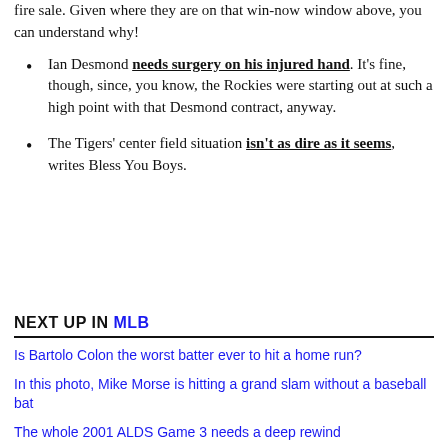fire sale. Given where they are on that win-now window above, you can understand why!
Ian Desmond needs surgery on his injured hand. It's fine, though, since, you know, the Rockies were starting out at such a high point with that Desmond contract, anyway.
The Tigers' center field situation isn't as dire as it seems, writes Bless You Boys.
NEXT UP IN MLB
Is Bartolo Colon the worst batter ever to hit a home run?
In this photo, Mike Morse is hitting a grand slam without a baseball bat
The whole 2001 ALDS Game 3 needs a deep rewind